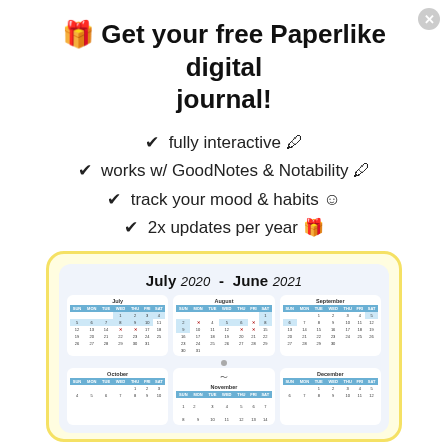🎁 Get your free Paperlike digital journal!
✔  fully interactive 🖊
✔  works w/ GoodNotes & Notability 🖊
✔  track your mood & habits ☺
✔  2x updates per year 🎁
[Figure (illustration): Preview of a digital journal planner showing monthly calendars (July 2020 – June 2021) with interactive checkmarks, mood tracking dots, and highlighted dates, displayed inside a yellow-bordered card with a light blue inner background.]